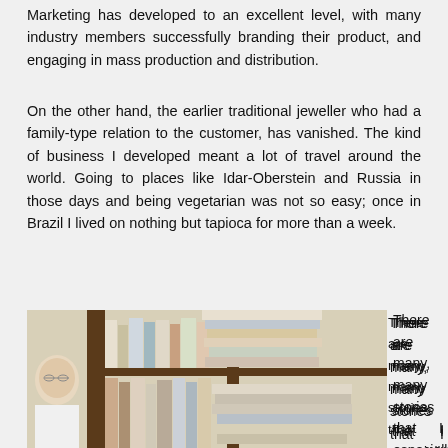Marketing has developed to an excellent level, with many industry members successfully branding their product, and engaging in mass production and distribution.
On the other hand, the earlier traditional jeweller who had a family-type relation to the customer, has vanished. The kind of business I developed meant a lot of travel around the world. Going to places like Idar-Oberstein and Russia in those days and being vegetarian was not so easy; once in Brazil I lived on nothing but tapioca for more than a week.
[Figure (photo): An elderly man with glasses smiling, standing next to a large bookshelf filled with many stacked books.]
There are many, many stories that I especially like to share with my